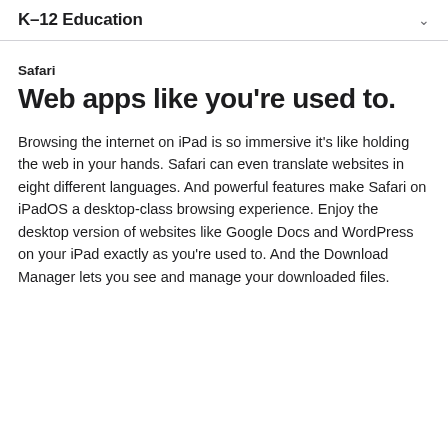K–12 Education
Safari
Web apps like you're used to.
Browsing the internet on iPad is so immersive it's like holding the web in your hands. Safari can even translate websites in eight different languages. And powerful features make Safari on iPadOS a desktop-class browsing experience. Enjoy the desktop version of websites like Google Docs and WordPress on your iPad exactly as you're used to. And the Download Manager lets you see and manage your downloaded files.